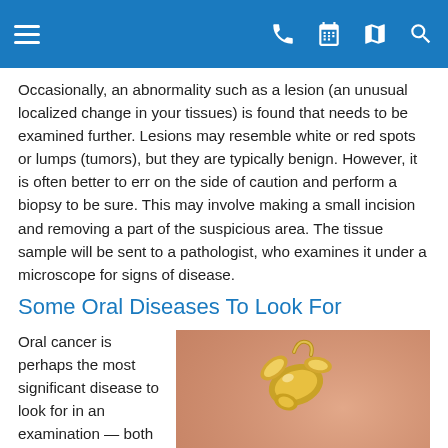Navigation bar with menu, phone, calendar, map, and search icons
Occasionally, an abnormality such as a lesion (an unusual localized change in your tissues) is found that needs to be examined further. Lesions may resemble white or red spots or lumps (tumors), but they are typically benign. However, it is often better to err on the side of caution and perform a biopsy to be sure. This may involve making a small incision and removing a part of the suspicious area. The tissue sample will be sent to a pathologist, who examines it under a microscope for signs of disease.
Some Oral Diseases To Look For
Oral cancer is perhaps the most significant disease to look for in an examination — both because it can be life-threatening, and
[Figure (photo): Close-up photograph showing a small golden jewelry piece (possibly an earring or tooth jewelry) against skin, with a small raised bump or lesion visible on the skin surface]